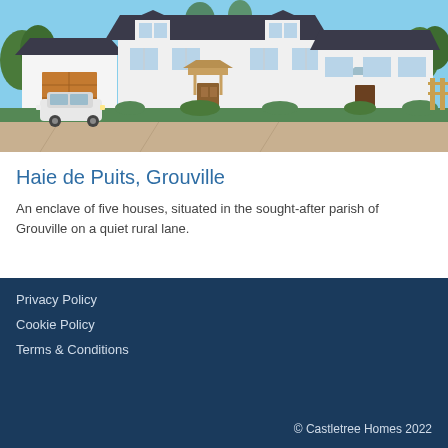[Figure (photo): Photograph of modern white semi-detached houses with dark slate roofs, a wooden porch canopy, a white car in the driveway, a garage with a brown door, green hedges and landscaping in front, on a sunny day.]
Haie de Puits, Grouville
An enclave of five houses, situated in the sought-after parish of Grouville on a quiet rural lane.
Privacy Policy
Cookie Policy
Terms & Conditions
© Castletree Homes 2022